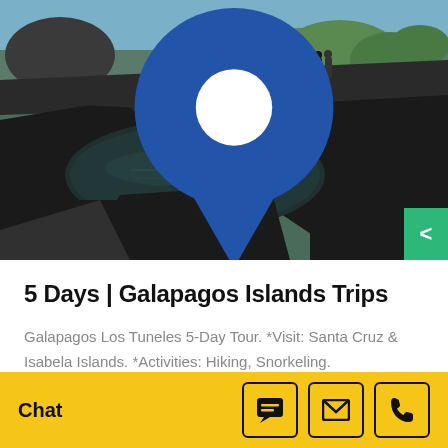[Figure (photo): Scenic view of Los Tuneles lava rock formation in Galapagos Islands with a dark tidal pool surrounded by volcanic black rock, people visible in the background, green vegetation on right]
5 Days | Galapagos Islands Trips
Galapagos Los Tuneles 5-Day Tour. *Visit: Santa Cruz & Isabela Islands. *Activities: Hiking, Snorkeling.
Chat